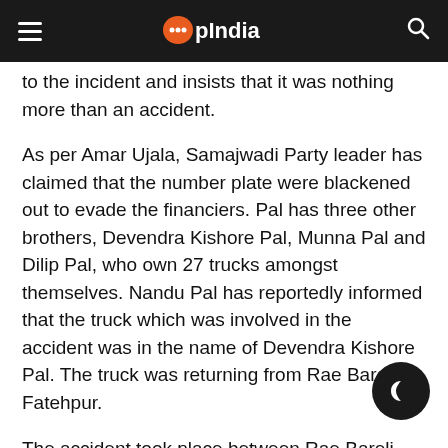OpIndia
to the incident and insists that it was nothing more than an accident.
As per Amar Ujala, Samajwadi Party leader has claimed that the number plate were blackened out to evade the financiers. Pal has three other brothers, Devendra Kishore Pal, Munna Pal and Dilip Pal, who own 27 trucks amongst themselves. Nandu Pal has reportedly informed that the truck which was involved in the accident was in the name of Devendra Kishore Pal. The truck was returning from Rae Bareli to Fatehpur.
The accident took place between Rae Bareli and